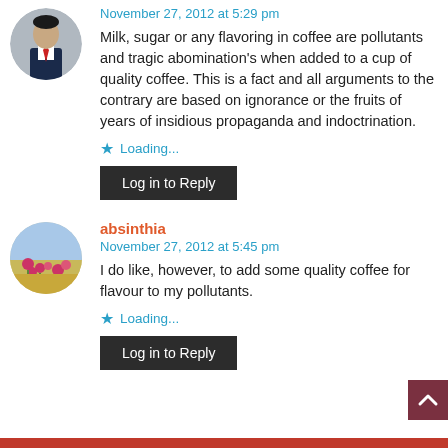November 27, 2012 at 5:29 pm
Milk, sugar or any flavoring in coffee are pollutants and tragic abomination's when added to a cup of quality coffee. This is a fact and all arguments to the contrary are based on ignorance or the fruits of years of insidious propaganda and indoctrination.
Loading...
Log in to Reply
absinthia
November 27, 2012 at 5:45 pm
I do like, however, to add some quality coffee for flavour to my pollutants.
Loading...
Log in to Reply